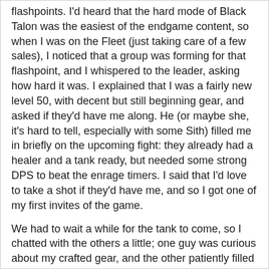flashpoints. I'd heard that the hard mode of Black Talon was the easiest of the endgame content, so when I was on the Fleet (just taking care of a few sales), I noticed that a group was forming for that flashpoint, and I whispered to the leader, asking how hard it was. I explained that I was a fairly new level 50, with decent but still beginning gear, and asked if they'd have me along. He (or maybe she, it's hard to tell, especially with some Sith) filled me in briefly on the upcoming fight: they already had a healer and a tank ready, but needed some strong DPS to beat the enrage timers. I said that I'd love to take a shot if they'd have me, and so I got one of my first invites of the game.
We had to wait a while for the tank to come, so I chatted with the others a little; one guy was curious about my crafted gear, and the other patiently filled me in on some questions about gear drops. I dueled. We waited. Finally, we boarded the shuttle to the Black Talon and were on our way.
I won't get into the story of the Black Talon here, but maybe I'll talk about combat mechanics a bit. I'm sure this is incredibly old news to anyone who played WoW for longer than the two days I did, but it's all pretty new to me, and I'm